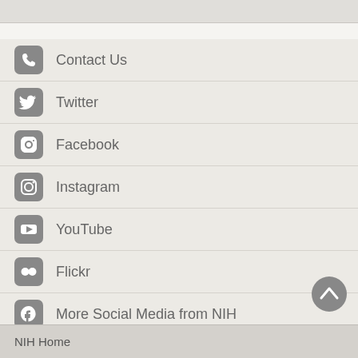Contact Us
Twitter
Facebook
Instagram
YouTube
Flickr
More Social Media from NIH
NIH Home